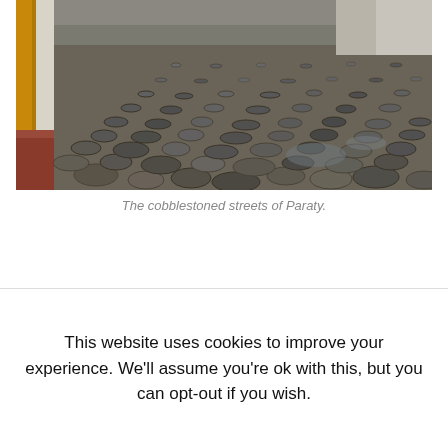[Figure (photo): A photo of cobblestoned streets of Paraty, showing irregular stone pavement with a yellow-painted doorframe on the left edge and whitewashed building facade.]
The cobblestoned streets of Paraty.
This website uses cookies to improve your experience. We'll assume you're ok with this, but you can opt-out if you wish.